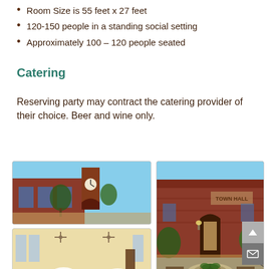Room Size is 55 feet x 27 feet
120-150 people in a standing social setting
Approximately 100 – 120 people seated
Catering
Reserving party may contract the catering provider of their choice. Beer and wine only.
[Figure (photo): Brick building with clock tower exterior]
[Figure (photo): Town Hall building exterior with fountain courtyard]
[Figure (photo): Interior banquet hall with white round tables and ceiling fans]